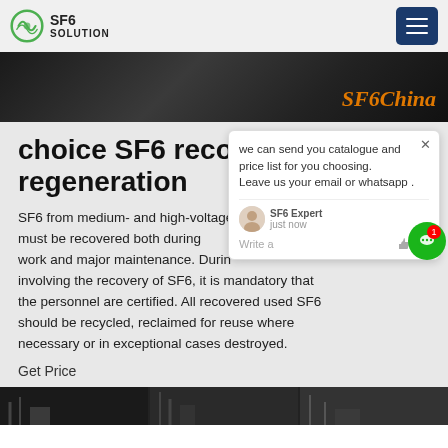SF6 SOLUTION
[Figure (screenshot): Dark banner image with 'SF6China' text overlay in orange italic font]
choice SF6 recovery regeneration
SF6 from medium- and high-voltage equipment must be recovered both during minor work and major maintenance. During any work involving the recovery of SF6, it is mandatory that the personnel are certified. All recovered used SF6 should be recycled, reclaimed for reuse where necessary or in exceptional cases destroyed.
Get Price
[Figure (screenshot): Chat popup with message: we can send you catalogue and price list for you choosing. Leave us your email or whatsapp. SF6 Expert - just now. Write a message.]
[Figure (photo): Bottom strip showing industrial/engineering photos in dark tones]